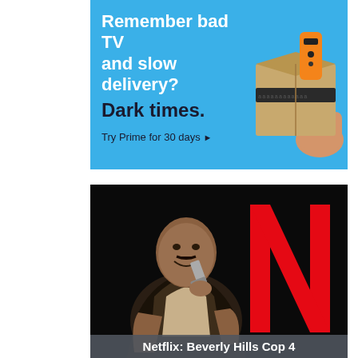[Figure (advertisement): Amazon Prime advertisement with blue background. Text reads 'Remember bad TV and slow delivery? Dark times. Try Prime for 30 days ▶' with an image of an Amazon delivery box and orange Fire TV remote.]
[Figure (photo): Netflix promotional image for Beverly Hills Cop 4 (Axel F). Black and white photo of Eddie Murphy holding a gun, smiling, with the red Netflix 'N' logo on the right side. Bottom bar shows caption 'Netflix: Beverly Hills Cop 4'.]
Netflix: Beverly Hills Cop 4